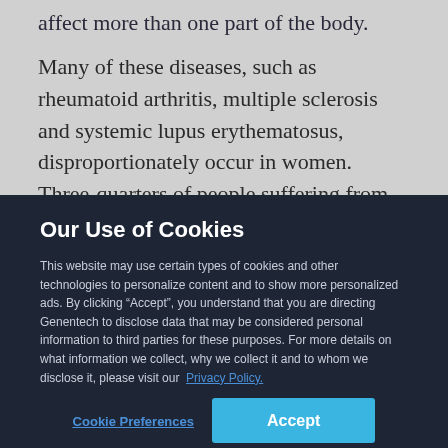affect more than one part of the body.
Many of these diseases, such as rheumatoid arthritis, multiple sclerosis and systemic lupus erythematosus, disproportionately occur in women. Three-quarters of people suffering from an autoimmune disease are women, and some autoimmune diseases are more common in women of Hispanic, African American and Native
Our Use of Cookies
This website may use certain types of cookies and other technologies to personalize content and to show more personalized ads. By clicking “Accept”, you understand that you are directing Genentech to disclose data that may be considered personal information to third parties for these purposes. For more details on what information we collect, why we collect it and to whom we disclose it, please visit our Privacy Policy.
Cookie Preferences
Accept